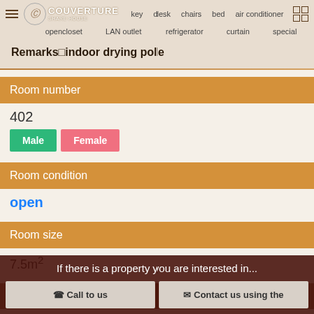MENU  key  desk  chairs  bed  air conditioner  opencloset  LAN outlet  refrigerator  curtain  special
Remarks indoor drying pole
Room number
402
Male  Female
Room condition
open
Room size
7.5m²
Rent
If there is a property you are interested in...
Call to us  Contact us using the